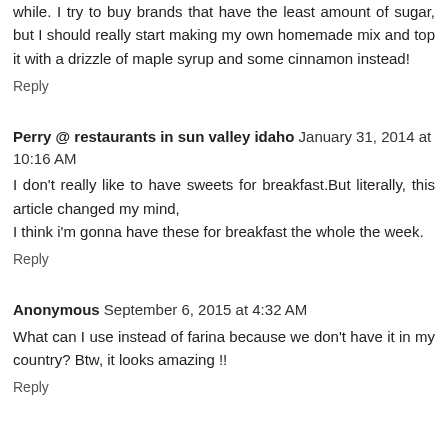while. I try to buy brands that have the least amount of sugar, but I should really start making my own homemade mix and top it with a drizzle of maple syrup and some cinnamon instead!
Reply
Perry @ restaurants in sun valley idaho  January 31, 2014 at 10:16 AM
I don't really like to have sweets for breakfast.But literally, this article changed my mind,
I think i'm gonna have these for breakfast the whole the week.
Reply
Anonymous  September 6, 2015 at 4:32 AM
What can I use instead of farina because we don't have it in my country? Btw, it looks amazing !!
Reply